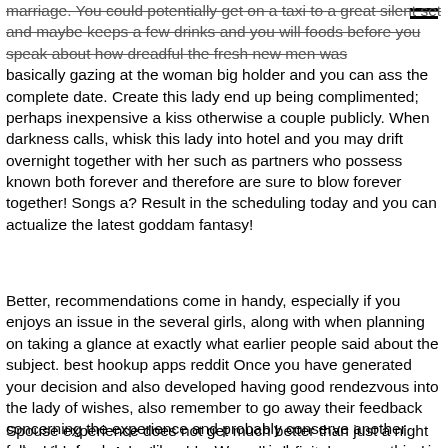marriage. You could potentially get on a taxi to a great silent set and maybe keeps a few drinks and you will foods before you speak about how dreadful the fresh new men was basically gazing at the woman big holder and you can ass the complete date. Create this lady end up being complimented; perhaps inexpensive a kiss otherwise a couple publicly. When darkness calls, whisk this lady into hotel and you may drift overnight together with her such as partners who possess known both forever and therefore are sure to blow forever together! Songs a? Result in the scheduling today and you can actualize the latest goddam fantasy!
Better, recommendations come in handy, especially if you enjoys an issue in the several girls, along with when planning on taking a glance at exactly what earlier people said about the subject. best hookup apps reddit Once you have generated your decision and also developed having good rendezvous into the lady of wishes, also remember to go away their feedback concerning the experience and probably conserve another fellow the fresh new dilemma. We remind one say everything in black-and-white. This way, you’ll allow us to improve our provider beginning, especially in cases where your did not located everything repaid
Spouse experience does not get much better than just a night out which have Ada. I would personally definitely recommend